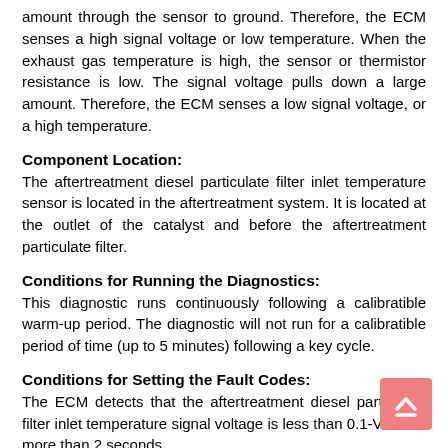amount through the sensor to ground. Therefore, the ECM senses a high signal voltage or low temperature. When the exhaust gas temperature is high, the sensor or thermistor resistance is low. The signal voltage pulls down a large amount. Therefore, the ECM senses a low signal voltage, or a high temperature.
Component Location:
The aftertreatment diesel particulate filter inlet temperature sensor is located in the aftertreatment system. It is located at the outlet of the catalyst and before the aftertreatment particulate filter.
Conditions for Running the Diagnostics:
This diagnostic runs continuously following a calibratible warm-up period. The diagnostic will not run for a calibratible period of time (up to 5 minutes) following a key cycle.
Conditions for Setting the Fault Codes:
The ECM detects that the aftertreatment diesel particulate filter inlet temperature signal voltage is less than 0.1-VDC for more than 2 seconds.